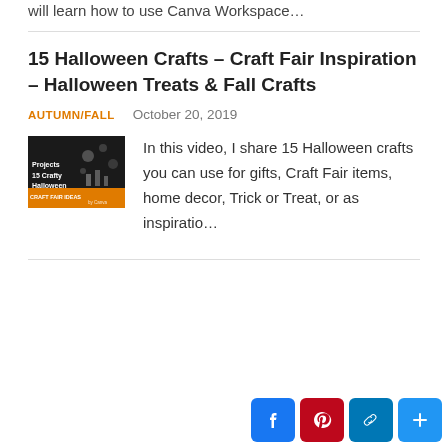will learn how to use Canva Workspace…
15 Halloween Crafts – Craft Fair Inspiration – Halloween Treats & Fall Crafts
AUTUMN/FALL   October 20, 2019
[Figure (photo): Thumbnail image for '15 Crafty Halloween Projects' video showing Halloween crafts on dark background with orange banner]
In this video, I share 15 Halloween crafts you can use for gifts, Craft Fair items, home decor, Trick or Treat, or as inspiratio…
[Figure (other): Social media share buttons: Facebook, Pinterest, Link/Share, Plus]